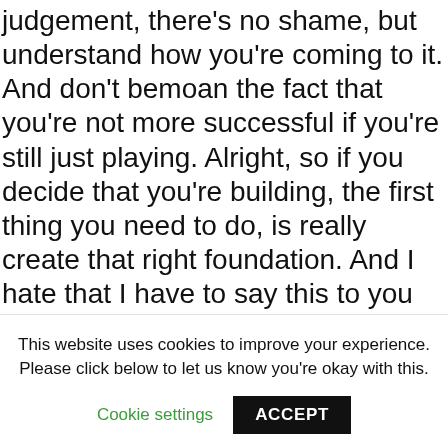judgement, there's no shame, but understand how you're coming to it. And don't bemoan the fact that you're not more successful if you're still just playing. Alright, so if you decide that you're building, the first thing you need to do, is really create that right foundation. And I hate that I have to say this to you right now. Because I want you to have fun every single minute of every single day. The boring stuff matters. The financial, the legal, the paperwork, the processes, the slps, all of that back office bs matters. Because what it does is it not only sets you up for
This website uses cookies to improve your experience. Please click below to let us know you're okay with this.
Cookie settings   ACCEPT